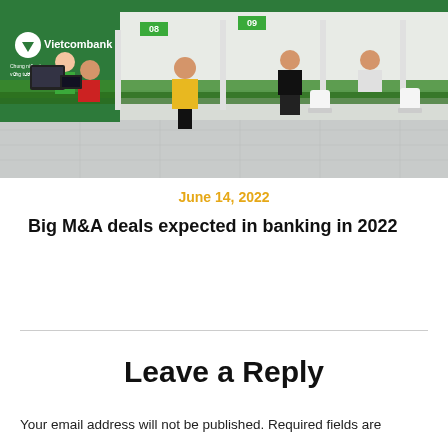[Figure (photo): Interior of a Vietcombank branch with customers and bank staff at service counters. Green and white color scheme with Vietcombank logo visible on the left.]
June 14, 2022
Big M&A deals expected in banking in 2022
Leave a Reply
Your email address will not be published. Required fields are